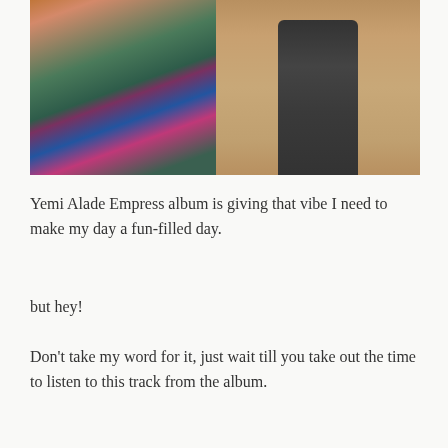[Figure (photo): Two side-by-side photos: left shows a woman in a colorful off-shoulder outfit with green, blue, and pink pattern; right shows a man in a dark grey suit standing against a tan/beige background.]
Yemi Alade Empress album is giving that vibe I need to make my day a fun-filled day.
but hey!
Don’t take my word for it, just wait till you take out the time to listen to this track from the album.